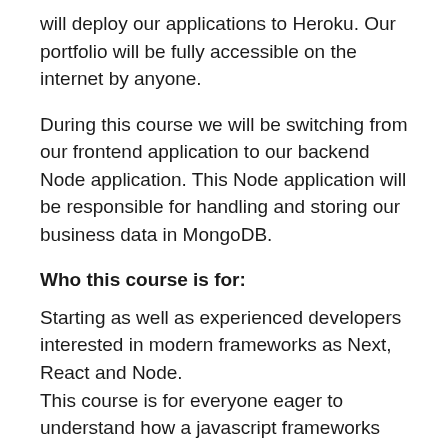will deploy our applications to Heroku. Our portfolio will be fully accessible on the internet by anyone.
During this course we will be switching from our frontend application to our backend Node application. This Node application will be responsible for handling and storing our business data in MongoDB.
Who this course is for:
Starting as well as experienced developers interested in modern frameworks as Next, React and Node.
This course is for everyone eager to understand how a javascript frameworks work.
Taking this course will enable you explain before difficult concepts to your fellow colleagues in simple way.